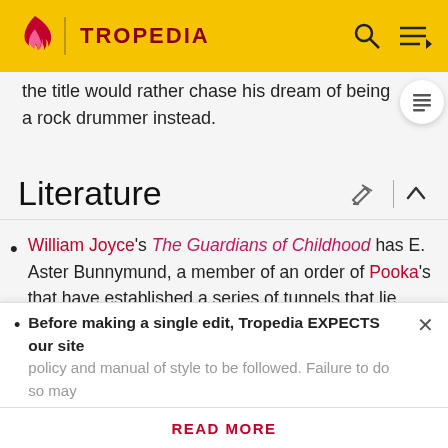TROPEDIA
the title would rather chase his dream of being a rock drummer instead.
Literature
William Joyce's The Guardians of Childhood has E. Aster Bunnymund, a member of an order of Pooka's that have established a series of tunnels that lie beneath much of the Earth. Bunnymund himself is a talented martial artist and swordsman and joins other figures such as Santa Claus in the Guardians team put
Before making a single edit, Tropedia EXPECTS our site policy and manual of style to be followed. Failure to do so may
READ MORE